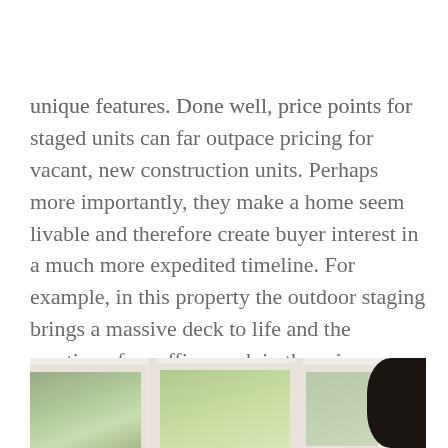unique features. Done well, price points for staged units can far outpace pricing for vacant, new construction units. Perhaps more importantly, they make a home seem livable and therefore create buyer interest in a much more expedited timeline. For example, in this property the outdoor staging brings a massive deck to life and the creation of an office nook in the primary suite draws attention to the stunning bay windows and ample storage included on that level.
[Figure (photo): Interior photo showing large bay windows with white frames looking out to trees, and a dark decorative element (feathered vase or plume) on the right side]